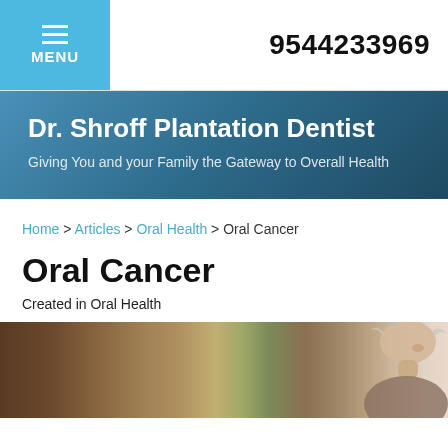MENU  9544233969
Dr. Shroff Plantation Dentist
Giving You and your Family the Gateway to Overall Health
Home > Articles > Oral Health > Oral Cancer
Oral Cancer
Created in Oral Health
[Figure (photo): Blurred photo of an elderly woman with grey hair, warm brown background]